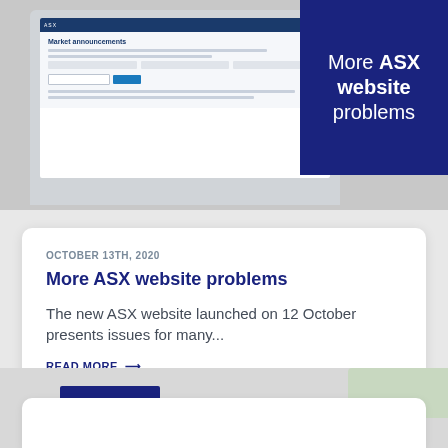[Figure (screenshot): Laptop screen showing ASX website market announcements page with a dark blue badge overlay reading 'More ASX website problems']
More ASX website problems
OCTOBER 13TH, 2020
The new ASX website launched on 12 October presents issues for many...
READ MORE →
[Figure (photo): Partial view of a second article card with dark blue rectangle and plant/greenery on the right]